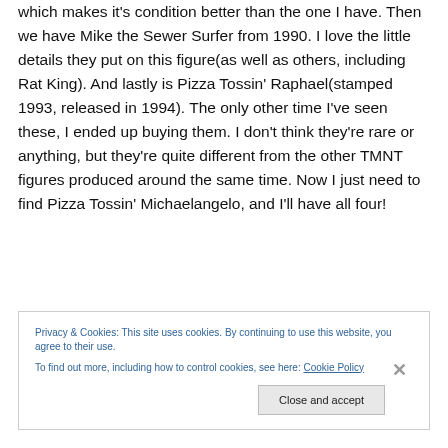which makes it's condition better than the one I have. Then we have Mike the Sewer Surfer from 1990. I love the little details they put on this figure(as well as others, including Rat King). And lastly is Pizza Tossin' Raphael(stamped 1993, released in 1994). The only other time I've seen these, I ended up buying them. I don't think they're rare or anything, but they're quite different from the other TMNT figures produced around the same time. Now I just need to find Pizza Tossin' Michaelangelo, and I'll have all four!
Privacy & Cookies: This site uses cookies. By continuing to use this website, you agree to their use.
To find out more, including how to control cookies, see here: Cookie Policy